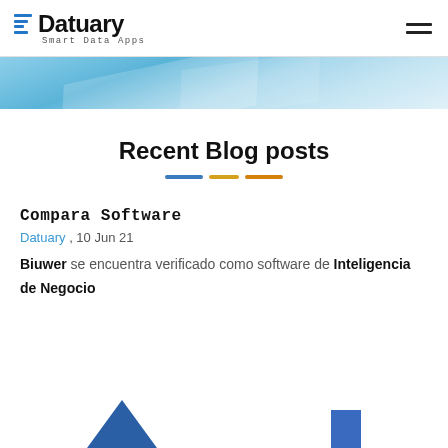Datuary Smart Data Apps
[Figure (screenshot): Light blue hero banner with diagonal light reflections]
Recent Blog posts
Compara Software
Datuary , 10 Jun 21
Biuwer se encuentra verificado como software de Inteligencia de Negocio
[Figure (illustration): Partial view of chart icons at bottom of page — blue triangle and blue rectangle partially visible]